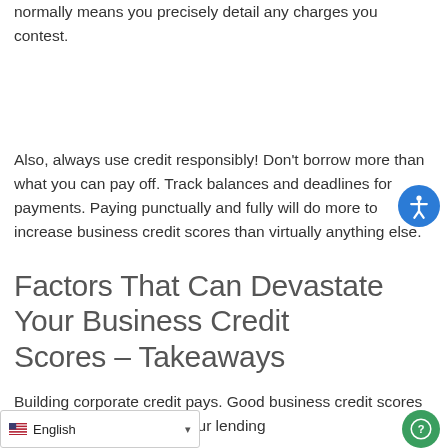normally means you precisely detail any charges you contest.
Also, always use credit responsibly! Don't borrow more than what you can pay off. Track balances and deadlines for payments. Paying punctually and fully will do more to increase business credit scores than virtually anything else.
Factors That Can Devastate Your Business Credit Scores – Takeaways
Building corporate credit pays. Good business credit scores help a loans. Your lending